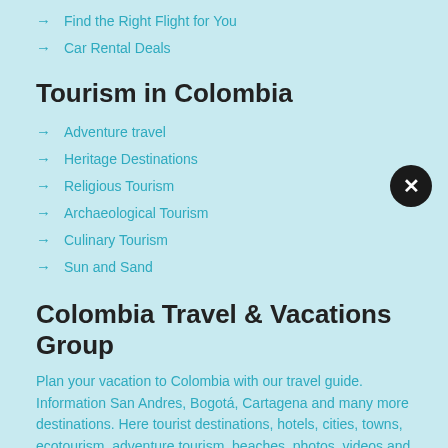→ Find the Right Flight for You
→ Car Rental Deals
Tourism in Colombia
→ Adventure travel
→ Heritage Destinations
→ Religious Tourism
→ Archaeological Tourism
→ Culinary Tourism
→ Sun and Sand
Colombia Travel & Vacations Group
Plan your vacation to Colombia with our travel guide. Information San Andres, Bogotá, Cartagena and many more destinations. Here tourist destinations, hotels, cities, towns, ecotourism, adventure tourism, beaches, photos, videos and more.
→ (partially visible)